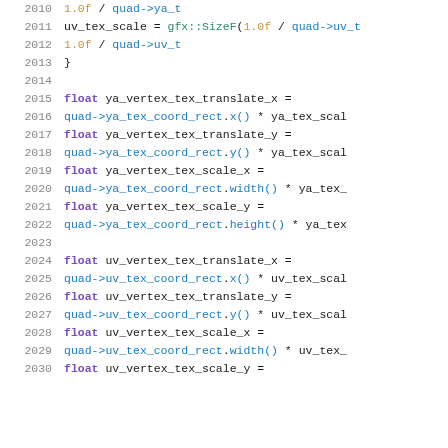[Figure (screenshot): Source code listing showing C++ code lines 2010-2030 with syntax highlighting. Lines show float variable declarations for texture coordinate translation and scale calculations using quad->ya_tex_coord_rect and quad->uv_tex_coord_rect methods.]